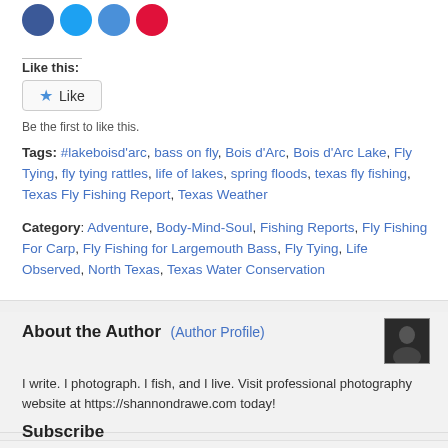[Figure (other): Social share icons: Facebook (blue circle), Twitter (blue circle), Email (blue circle), Pinterest (red circle)]
Like this:
Like
Be the first to like this.
Tags: #lakeboisd'arc, bass on fly, Bois d'Arc, Bois d'Arc Lake, Fly Tying, fly tying rattles, life of lakes, spring floods, texas fly fishing, Texas Fly Fishing Report, Texas Weather
Category: Adventure, Body-Mind-Soul, Fishing Reports, Fly Fishing For Carp, Fly Fishing for Largemouth Bass, Fly Tying, Life Observed, North Texas, Texas Water Conservation
About the Author (Author Profile)
[Figure (photo): Small dark author profile photo thumbnail]
I write. I photograph. I fish, and I live. Visit professional photography website at https://shannondrawe.com today!
Subscribe